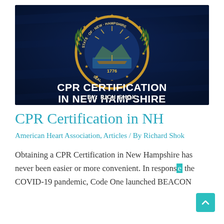[Figure (illustration): Hero banner image showing the New Hampshire state seal on a dark navy blue background with text 'CPR CERTIFICATION IN NEW HAMPSHIRE' in large white bold letters and 'BY: RICH SHOK' in smaller white bold letters below.]
CPR Certification in NH
American Heart Association, Articles / By Richard Shok
Obtaining a CPR Certification in New Hampshire has never been easier or more convenient. In response to the COVID-19 pandemic, Code One launched BEACON